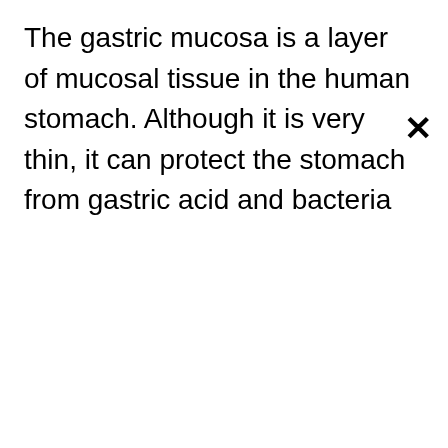The gastric mucosa is a layer of mucosal tissue in the human stomach. Although it is very thin, it can protect the stomach from gastric acid and bacteria
×